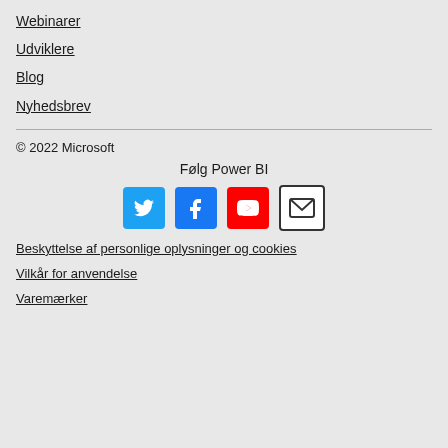Webinarer
Udviklere
Blog
Nyhedsbrev
© 2022 Microsoft
Følg Power BI
[Figure (infographic): Social media icons: Twitter (blue bird), Facebook (blue f), YouTube (red play button), Email (envelope)]
Beskyttelse af personlige oplysninger og cookies
Vilkår for anvendelse
Varemærker